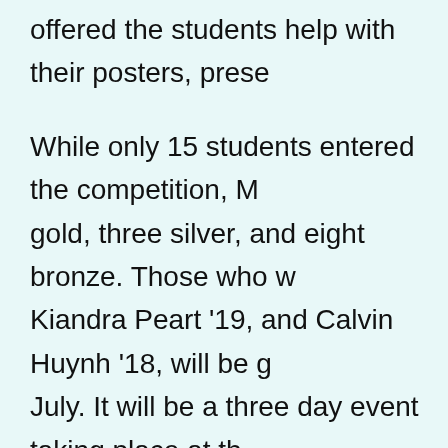offered the students help with their posters, prese
While only 15 students entered the competition, M gold, three silver, and eight bronze. Those who w Kiandra Peart '19, and Calvin Huynh '18, will be g July. It will be a three day event taking place at th in San Antonio, Texas where they will be competi other states.
"I am extremely excited for Nationals because it'll opportunity to meet people from all over the coun amazing things," said Mohamed.